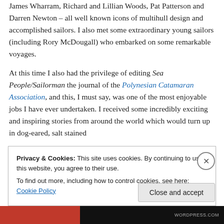James Wharram, Richard and Lillian Woods, Pat Patterson and Darren Newton – all well known icons of multihull design and accomplished sailors. I also met some extraordinary young sailors (including Rory McDougall) who embarked on some remarkable voyages.
At this time I also had the privilege of editing Sea People/Sailorman the journal of the Polynesian Catamaran Association, and this, I must say, was one of the most enjoyable jobs I have ever undertaken. I received some incredibly exciting and inspiring stories from around the world which would turn up in dog-eared, salt stained
Privacy & Cookies: This site uses cookies. By continuing to use this website, you agree to their use.
To find out more, including how to control cookies, see here: Cookie Policy
Close and accept